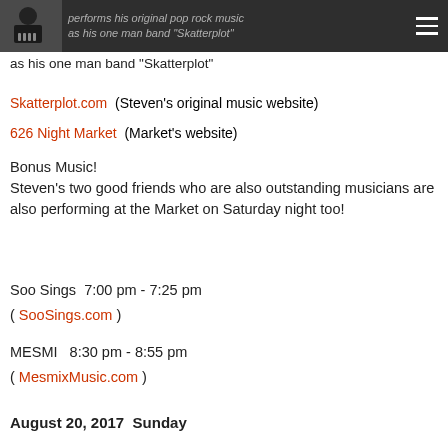performs his original pop rock music as his one man band "Skatterplot"
Skatterplot.com (Steven's original music website)
626 Night Market (Market's website)
Bonus Music!
Steven's two good friends who are also outstanding musicians are also performing at the Market on Saturday night too!
Soo Sings  7:00 pm - 7:25 pm
( SooSings.com )
MESMI   8:30 pm - 8:55 pm
( MesmixMusic.com )
August 20, 2017  Sunday